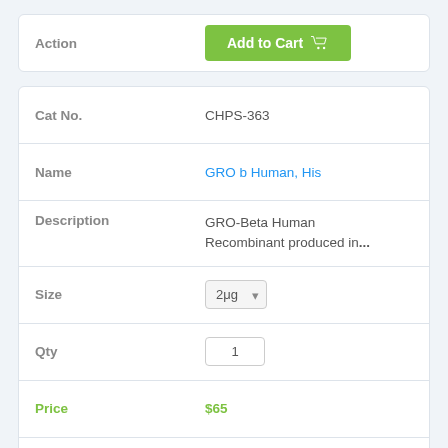| Field | Value |
| --- | --- |
| Action | Add to Cart |
| Field | Value |
| --- | --- |
| Cat No. | CHPS-363 |
| Name | GRO b Human, His |
| Description | GRO-Beta Human Recombinant produced in... |
| Size | 2μg |
| Qty | 1 |
| Price | $65 |
| Action | Add to Cart |
| Field | Value |
| --- | --- |
| Cat No. | CHPS-345 |